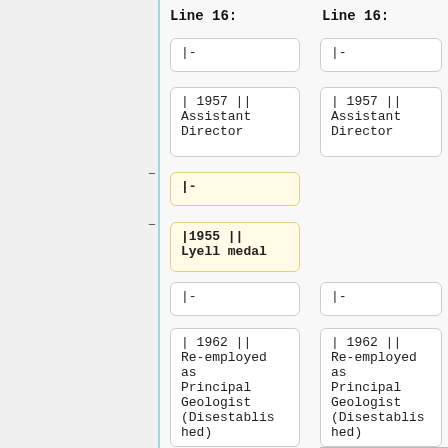Line 16:
Line 16:
|-
|-
| 1957 || Assistant Director
| 1957 || Assistant Director
|-
|1955 || Lyell medal
|-
|-
| 1962 || Re-employed as Principal Geologist (Disestablished)
| 1962 || Re-employed as Principal Geologist (Disestablished)